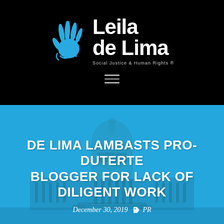[Figure (logo): Leila de Lima logo with hand icon and tagline 'Social Justice & Human Rights ®' on black background]
[Figure (photo): Blue-tinted photo of a government building (Capitol dome) as hero background]
DE LIMA LAMBASTS PRO-DUTERTE BLOGGER FOR LACK OF DILIGENT WORK
December 30, 2019  PR